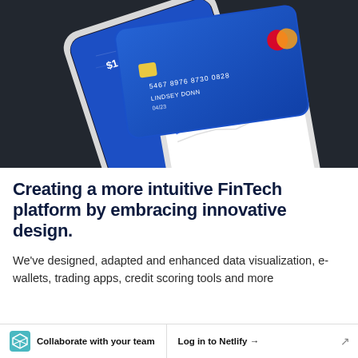[Figure (photo): A smartphone lying on a dark surface with a blue fintech mobile banking app displayed, and a credit card (Mastercard) resting on top showing card number 5467 8976 8730 0828, name LINDSEY DONN, date 04/23, balance $140.]
Creating a more intuitive FinTech platform by embracing innovative design.
We've designed, adapted and enhanced data visualization, e-wallets, trading apps, credit scoring tools and more
Collaborate with your team   Log in to Netlify →